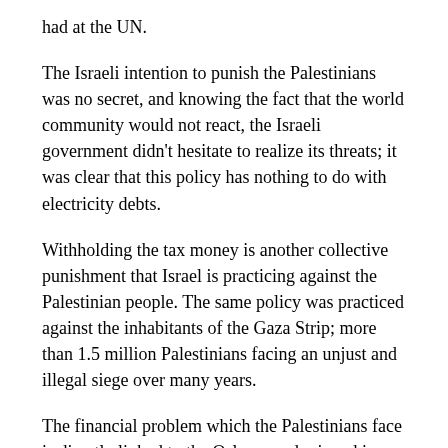had at the UN.
The Israeli intention to punish the Palestinians was no secret, and knowing the fact that the world community would not react, the Israeli government didn't hesitate to realize its threats; it was clear that this policy has nothing to do with electricity debts.
Withholding the tax money is another collective punishment that Israel is practicing against the Palestinian people. The same policy was practiced against the inhabitants of the Gaza Strip; more than 1.5 million Palestinians facing an unjust and illegal siege over many years.
The financial problem which the Palestinians face is directly linked to the Oslo accords signed in 1993. The direct blame falls on the shoulders of those who lift the financial responsibility and obligation from the Israeli shoulders as an occupying power.
Since 1967 until 1994 when the PA was founded, there was no